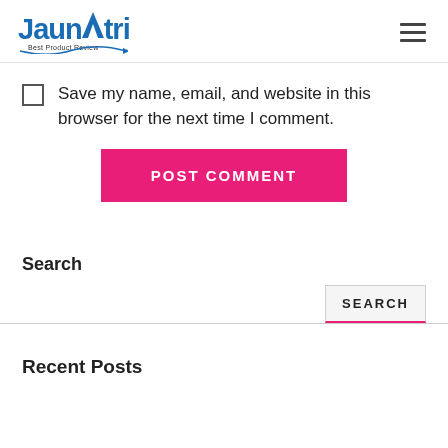Jaunatri — Best Product Review (logo + hamburger menu)
Save my name, email, and website in this browser for the next time I comment.
POST COMMENT
Search
SEARCH
Recent Posts